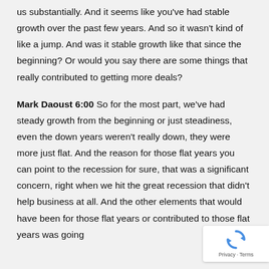us substantially. And it seems like you've had stable growth over the past few years. And so it wasn't kind of like a jump. And was it stable growth like that since the beginning? Or would you say there are some things that really contributed to getting more deals?
Mark Daoust 6:00 So for the most part, we've had steady growth from the beginning or just steadiness, even the down years weren't really down, they were more just flat. And the reason for those flat years you can point to the recession for sure, that was a significant concern, right when we hit the great recession that didn't help business at all. And the other elements that would have been for those flat years or contributed to those flat years was going